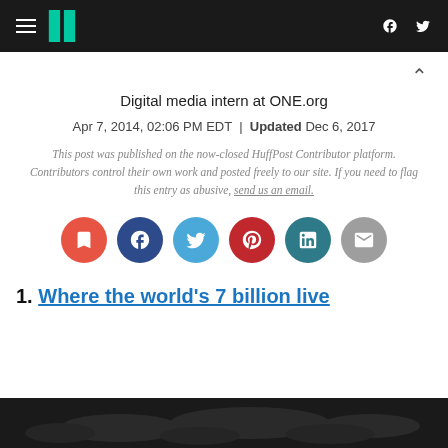HuffPost header with logo, hamburger menu, Facebook and Twitter icons
Digital media intern at ONE.org
Apr 7, 2014, 02:06 PM EDT | Updated Dec 6, 2017
This post was published on the now-closed HuffPost Contributor platform. Contributors control their own work and posted freely to our site. If you need to flag this entry as abusive, send us an email.
[Figure (infographic): Row of six social sharing icon circles: bookmark (red-orange), Facebook (dark blue), Twitter (light blue), Pinterest (dark red), LinkedIn (teal), Email (gray)]
1. Where the world's 7 billion live
[Figure (photo): Dark world map image, partially visible at bottom of page]